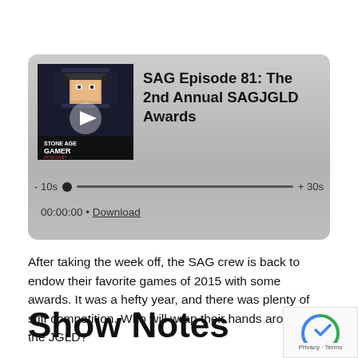[Figure (screenshot): Podcast player widget with album art for 'Stone Age Gamer Podcast', episode title 'SAG Episode 81: The 2nd Annual SAGJGLD Awards', a progress bar with -10s and +30s skip controls, and timestamp '00:00:00 • Download']
After taking the week off, the SAG crew is back to endow their favorite games of 2015 with some awards. It was a hefty year, and there was plenty of stiff competition. Who will wrap their hands around the JGLD?
Show Notes
[Figure (logo): Google reCAPTCHA badge with Privacy and Terms links]